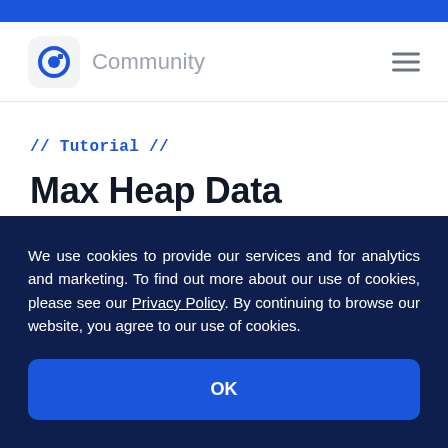Community
// Tutorial //
Max Heap Data Structure Implementation in Java
We use cookies to provide our services and for analytics and marketing. To find out more about our use of cookies, please see our Privacy Policy. By continuing to browse our website, you agree to our use of cookies.
OK